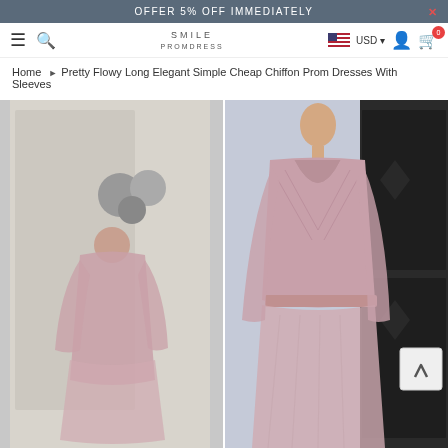OFFER 5% OFF IMMEDIATELY
[Figure (logo): SMILE PROMDRESS logo in the navigation bar]
Home ▶ Pretty Flowy Long Elegant Simple Cheap Chiffon Prom Dresses With Sleeves
[Figure (photo): Two views of a pink chiffon prom dress with long sleeves and V-neckline on a mannequin]